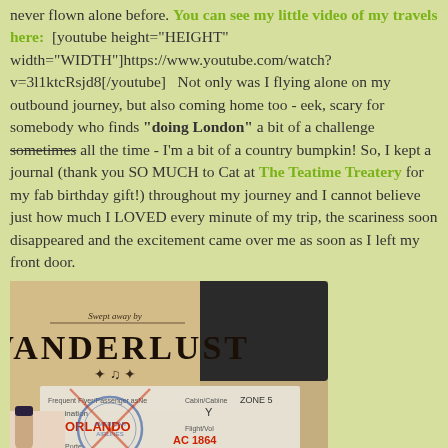never flown alone before. You can see my little video of my travels here: [youtube height="HEIGHT" width="WIDTH"]https://www.youtube.com/watch?v=3l1ktcRsjd8[/youtube]  Not only was I flying alone on my outbound journey, but also coming home too - eek, scary for somebody who finds "doing London" a bit of a challenge sometimes all the time - I'm a bit of a country bumpkin! So, I kept a journal (thank you SO MUCH to Cat at The Teatime Treatery for my fab birthday gift!) throughout my journey and I cannot believe just how much I LOVED every minute of my trip, the scariness soon disappeared and the excitement came over me as soon as I left my front door.
[Figure (photo): A photo showing a journal with 'WANDERLUST' written in large decorative text, overlaid with a boarding pass showing destination ORLANDO, flight AC 1864, Seat 17E, Zone 5, Cabin Y. A hand with dark nail polish is visible holding the items.]